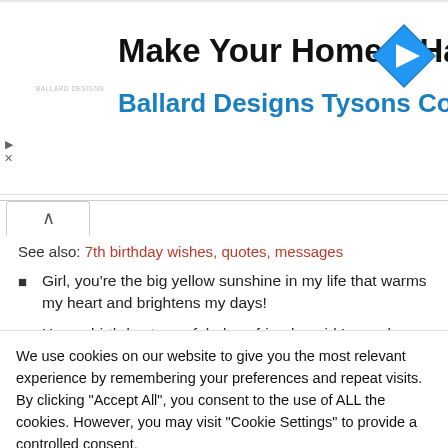[Figure (infographic): Advertisement banner: 'Make Your Home a Haven' with subtitle 'Ballard Designs Tysons Corner' and a blue diamond navigation icon on the right, small logo text on the left, and play/close controls.]
See also: 7th birthday wishes, quotes, messages
Girl, you're the big yellow sunshine in my life that warms my heart and brightens my days!
Happy birthday to my fabulous friend; a girl I can always rely on and confide in!
We use cookies on our website to give you the most relevant experience by remembering your preferences and repeat visits. By clicking "Accept All", you consent to the use of ALL the cookies. However, you may visit "Cookie Settings" to provide a controlled consent.